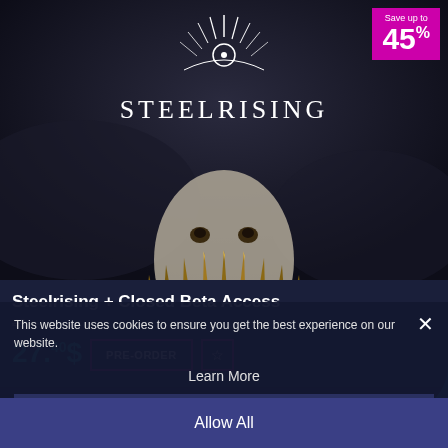[Figure (screenshot): Steelrising game cover art showing a masked figure with golden spiky weapon/fan. White logo text 'STEELRISING' in center top area. Dark atmospheric background.]
Save up to 45%
Steelrising + Closed Beta Access
49.-- (strikethrough original price)
27.40$
PRE-ORDER
This website uses cookies to ensure you get the best experience on our website.
Learn More
Decline
Allow All